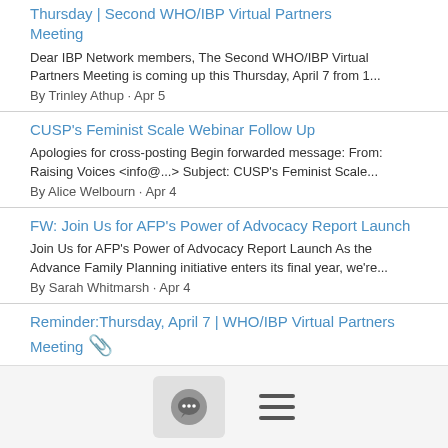Thursday | Second WHO/IBP Virtual Partners Meeting
Dear IBP Network members, The Second WHO/IBP Virtual Partners Meeting is coming up this Thursday, April 7 from 1...
By Trinley Athup · Apr 5
CUSP's Feminist Scale Webinar Follow Up
Apologies for cross-posting Begin forwarded message: From: Raising Voices <info@...> Subject: CUSP's Feminist Scale...
By Alice Welbourn · Apr 4
FW: Join Us for AFP's Power of Advocacy Report Launch
Join Us for AFP's Power of Advocacy Report Launch As the Advance Family Planning initiative enters its final year, we're...
By Sarah Whitmarsh · Apr 4
Reminder:Thursday, April 7 | WHO/IBP Virtual Partners Meeting 📎